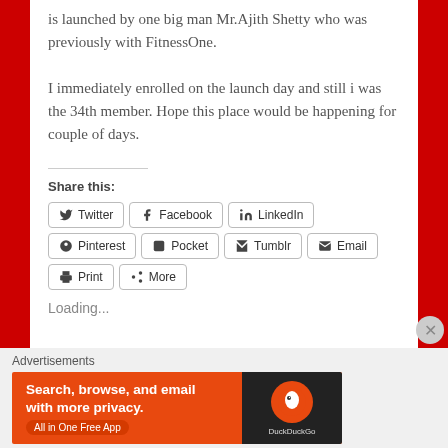is launched by one big man Mr.Ajith Shetty who was previously with FitnessOne.
I immediately enrolled on the launch day and still i was the 34th member. Hope this place would be happening for couple of days.
Share this:
Twitter  Facebook  LinkedIn  Pinterest  Pocket  Tumblr  Email  Print  More
Loading...
Advertisements
[Figure (other): DuckDuckGo advertisement banner: Search, browse, and email with more privacy. All in One Free App. With DuckDuckGo logo on dark background.]